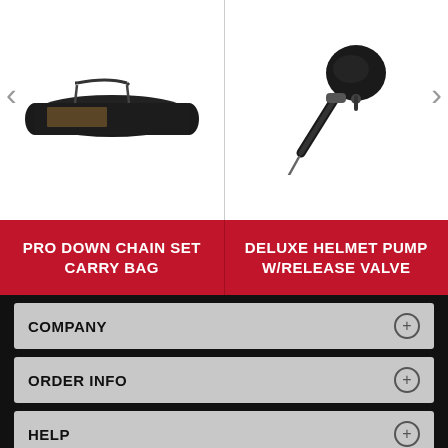[Figure (photo): Black carry bag for pro down chain set, long rectangular bag with shoulder strap]
[Figure (photo): Deluxe helmet pump with release valve, black bulb pump with needle attachment]
PRO DOWN CHAIN SET CARRY BAG
DELUXE HELMET PUMP W/RELEASE VALVE
COMPANY
ORDER INFO
HELP
CATEGORIES
SOCIAL
Contact Us